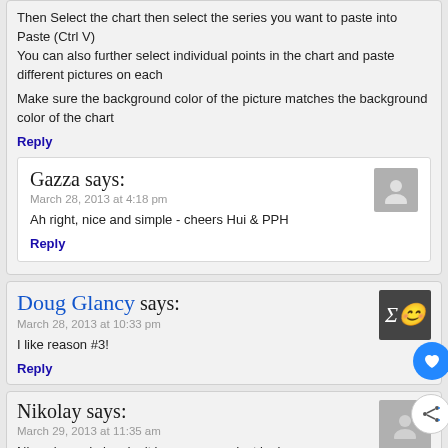Then Select the chart then select the series you want to paste into
Paste (Ctrl V)
You can also further select individual points in the chart and paste different pictures on each
Make sure the background color of the picture matches the background color of the chart
Reply
Gazza says:
March 28, 2013 at 4:18 pm
Ah right, nice and simple - cheers Hui & PPH
Reply
Doug Glancy says:
March 28, 2013 at 10:33 pm
I like reason #3!
Reply
Nikolay says:
March 29, 2013 at 11:35 am
Nice pic. and nice don't know sumproduct look, i can't imagine the don't know vlookup look
Reply